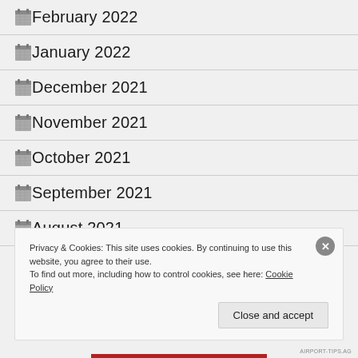February 2022
January 2022
December 2021
November 2021
October 2021
September 2021
August 2021
Privacy & Cookies: This site uses cookies. By continuing to use this website, you agree to their use.
To find out more, including how to control cookies, see here: Cookie Policy
Close and accept